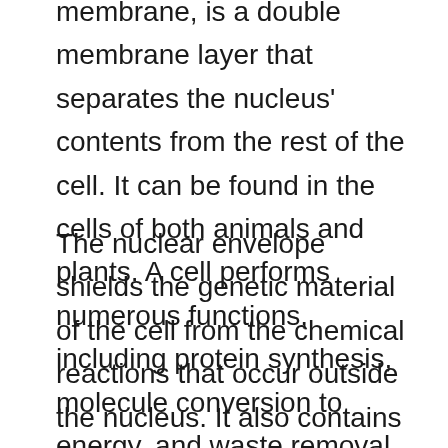membrane, is a double membrane layer that separates the nucleus' contents from the rest of the cell. It can be found in the cells of both animals and plants. A cell performs numerous functions, including protein synthesis, molecule conversion to energy, and waste removal.
The nuclear envelope shields the genetic material of the cell from the chemical reactions that occur outside the nucleus. It also contains a large number of proteins that are involved in the organization of DNA and the regulation of genes.